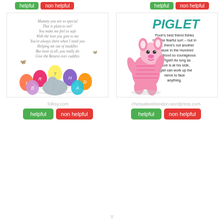[Figure (screenshot): Top row of helpful/non helpful buttons for two items]
[Figure (illustration): Eeyore with colorful balloons and a poem reading: Mummy you are so special That is plain to see! You make me feel so safe With the love you give to me You're always there when I need you Helping me out of muddles But most of all, you really do Give the Bestest ever cuddles]
[Figure (illustration): Piglet character with text: PIGLET - Pooh's best friend thinks he's the fearful sort -- but in truth, there's not another creature in the Hundred Acre Wood so courageous as Piglet! As long as Pooh is at his side, Piglet can work up the nerve to face anything.]
folksy.com
chessaleeinlondon.wordpress.com
[Figure (screenshot): Bottom helpful/non helpful buttons for left card (folksy.com)]
[Figure (screenshot): Bottom helpful/non helpful buttons for right card (chessaleeinlondon.wordpress.com)]
x